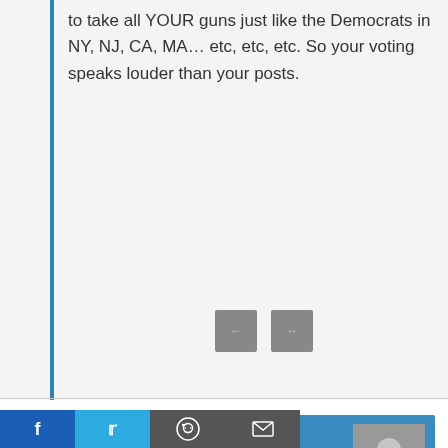to take all YOUR guns just like the Democrats in NY, NJ, CA, MA… etc, etc, etc. So your voting speaks louder than your posts.
derakshan
SEPTEMBER 14, 2017, 4:33 PM
Yes, the levels of gun violence are unacceptable, but what has that got do with law-abiding gun owners? NOTHING